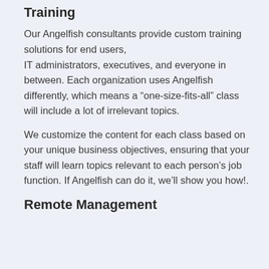Training
Our Angelfish consultants provide custom training solutions for end users, IT administrators, executives, and everyone in between. Each organization uses Angelfish differently, which means a “one-size-fits-all” class will include a lot of irrelevant topics.
We customize the content for each class based on your unique business objectives, ensuring that your staff will learn topics relevant to each person’s job function. If Angelfish can do it, we’ll show you how!.
Remote Management